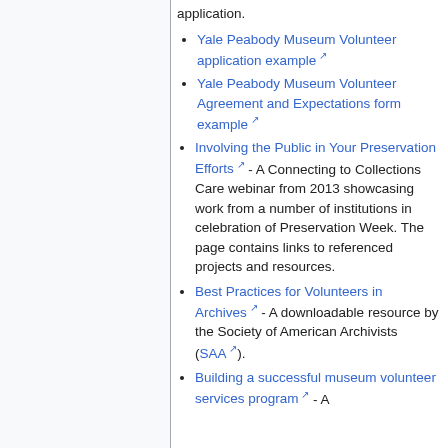application.
Yale Peabody Museum Volunteer application example [external link]
Yale Peabody Museum Volunteer Agreement and Expectations form example [external link]
Involving the Public in Your Preservation Efforts [external link] - A Connecting to Collections Care webinar from 2013 showcasing work from a number of institutions in celebration of Preservation Week. The page contains links to referenced projects and resources.
Best Practices for Volunteers in Archives [external link] - A downloadable resource by the Society of American Archivists (SAA [external link]).
Building a successful museum volunteer services program [external link] - A